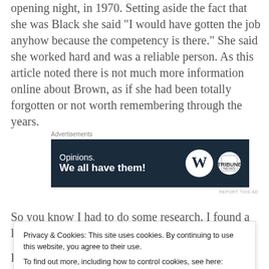opening night, in 1970. Setting aside the fact that she was Black she said “I would have gotten the job anyhow because the competency is there.” She said she worked hard and was a reliable person. As this article noted there is not much more information online about Brown, as if she had been totally forgotten or not worth remembering through the years.
Advertisements
[Figure (other): Advertisement banner with dark navy background showing text 'Opinions. We all have them!' with WordPress and Tribune News logos on the right.]
REPORT THIS AD
So you know I had to do some research. I found a little
Privacy & Cookies: This site uses cookies. By continuing to use this website, you agree to their use.
To find out more, including how to control cookies, see here: Cookie Policy
Hemsley as Gitlow. As you might know, I just finished my